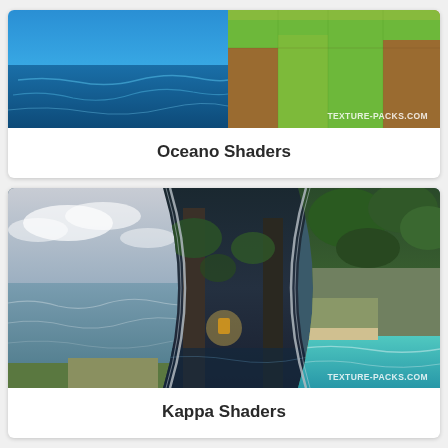[Figure (screenshot): Minecraft Oceano Shaders screenshot showing blue shimmering water on the left and green/brown grass and dirt blocks on the right, with TEXTURE-PACKS.COM watermark]
Oceano Shaders
[Figure (screenshot): Minecraft Kappa Shaders screenshot showing three overlapping curved panels: left panel shows an ocean view with cloudy sky, center panel shows an underwater/dark interior scene with glowing lantern, right panel shows a lush green jungle cliff with turquoise water, with TEXTURE-PACKS.COM watermark]
Kappa Shaders